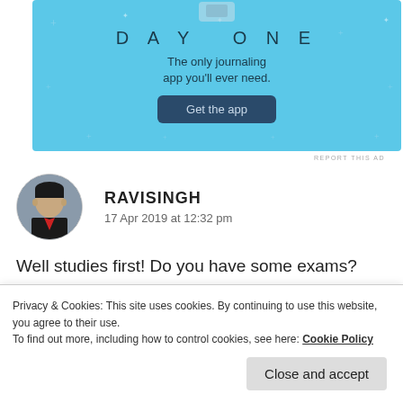[Figure (screenshot): Day One journaling app advertisement banner with light blue background, showing app icon at top, 'DAY ONE' title, tagline 'The only journaling app you'll ever need.' and a dark 'Get the app' button]
REPORT THIS AD
RAVISINGH
17 Apr 2019 at 12:32 pm
Well studies first! Do you have some exams?
wish you good luck Priya!
Privacy & Cookies: This site uses cookies. By continuing to use this website, you agree to their use.
To find out more, including how to control cookies, see here: Cookie Policy
Close and accept